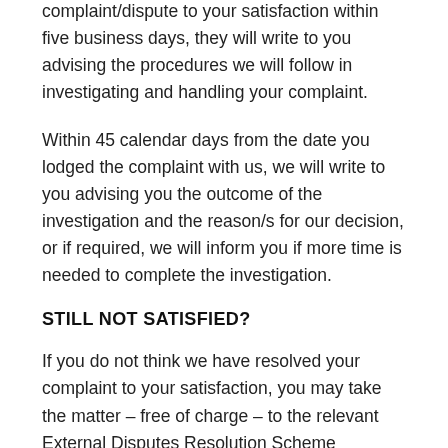complaint/dispute to your satisfaction within five business days, they will write to you advising the procedures we will follow in investigating and handling your complaint.
Within 45 calendar days from the date you lodged the complaint with us, we will write to you advising you the outcome of the investigation and the reason/s for our decision, or if required, we will inform you if more time is needed to complete the investigation.
STILL NOT SATISFIED?
If you do not think we have resolved your complaint to your satisfaction, you may take the matter – free of charge – to the relevant External Disputes Resolution Scheme (provided it is within the scheme's terms of reference) as detailed below. You may also refer the matter to the relevant External Disputes Resolution Scheme at any time, but if our internal process is still in